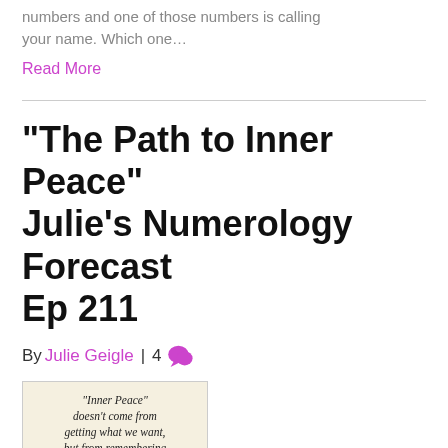numbers and one of those numbers is calling your name. Which one…
Read More
“The Path to Inner Peace” Julie’s Numerology Forecast Ep 211
By Julie Geigle | 4 [comments]
[Figure (illustration): Inspirational quote image on cream/beige background: "Inner Peace" doesn't come from getting what we want, but from remembering who we are — Marianne Williamson]